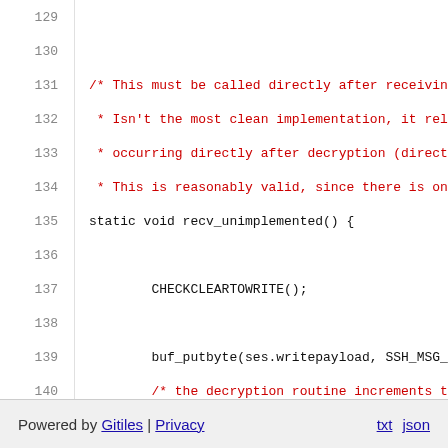Code listing lines 129-145 showing recv_unimplemented function in C with comments
Powered by Gitiles | Privacy  txt  json